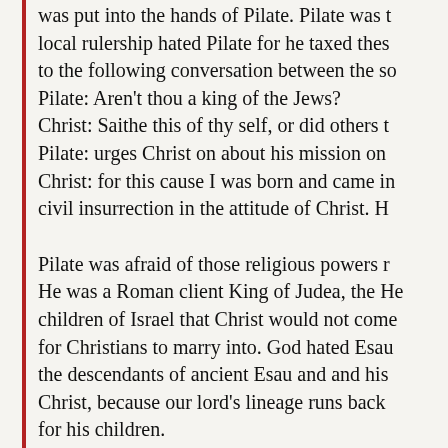was put into the hands of Pilate. Pilate was t local rulership hated Pilate for he taxed thes to the following conversation between the so Pilate: Aren't thou a king of the Jews? Christ: Saithe this of thy self, or did others t Pilate: urges Christ on about his mission on Christ: for this cause I was born and came in civil insurrection in the attitude of Christ. H
Pilate was afraid of those religious powers r He was a Roman client King of Judea, the He children of Israel that Christ would not come for Christians to marry into. God hated Esau the descendants of ancient Esau and and his Christ, because our lord's lineage runs back for his children. Peradventure a ruling against Christ was fol Monarch. Still, no evidence that Christ being over seers in high command.